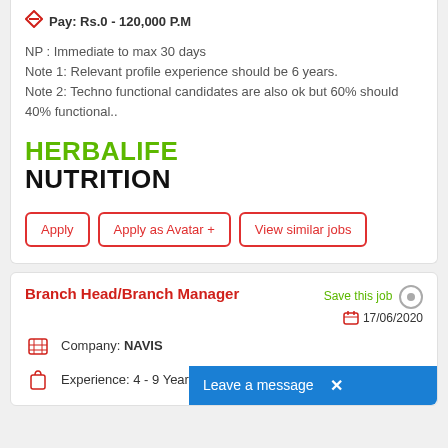Pay: Rs.0 - 120,000 P.M
NP : Immediate to max 30 days
Note 1: Relevant profile experience should be 6 years.
Note 2: Techno functional candidates are also ok but 60% should 40% functional..
[Figure (logo): Herbalife Nutrition logo in green and black]
Apply | Apply as Avatar + | View similar jobs
Branch Head/Branch Manager
Save this job  17/06/2020
Company: NAVIS
Experience: 4 - 9 Year(s)
Leave a message